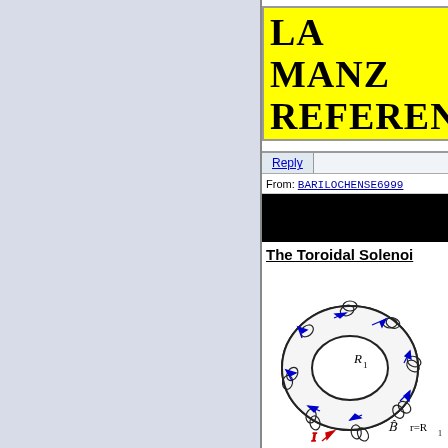LA MANZ
REFEREN
Reply
From: BARILOCHENSE6999
The Toroidal Solenoi...
[Figure (engineering-diagram): Toroidal solenoid diagram showing a donut-shaped coil with blue magnetic field arrows, red current arrows labeled I, B-field label, and geometric labels R1, r=R1, dθ]